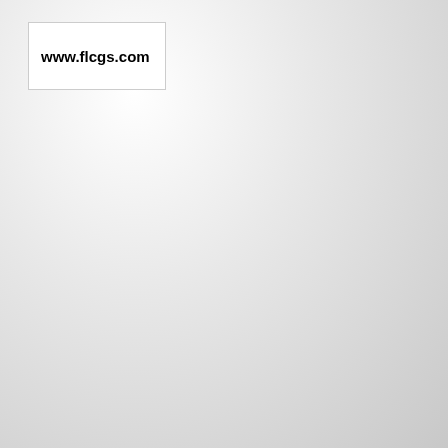[Figure (logo): White rectangular logo box containing the bold text 'www.flcgs.com' on a gradient grey background]